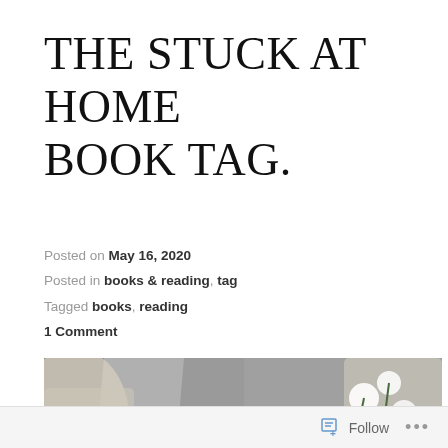THE STUCK AT HOME BOOK TAG.
Posted on May 16, 2020
Posted in books & reading, tag
Tagged books, reading
1 Comment
[Figure (photo): Overhead flat-lay photo of a cup of tea with white daisies and white flowers with lace fabric on a grey linen background]
Follow